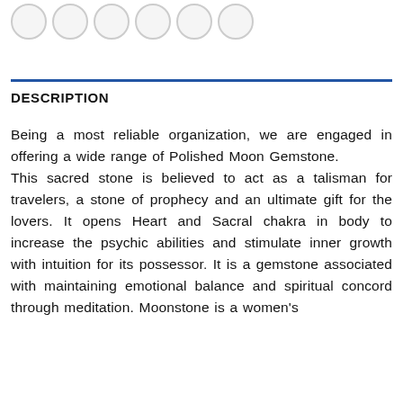[Figure (illustration): Row of circular icon buttons at the top of the page]
DESCRIPTION
Being a most reliable organization, we are engaged in offering a wide range of Polished Moon Gemstone.
This sacred stone is believed to act as a talisman for travelers, a stone of prophecy and an ultimate gift for the lovers. It opens Heart and Sacral chakra in body to increase the psychic abilities and stimulate inner growth with intuition for its possessor. It is a gemstone associated with maintaining emotional balance and spiritual concord through meditation. Moonstone is a women's